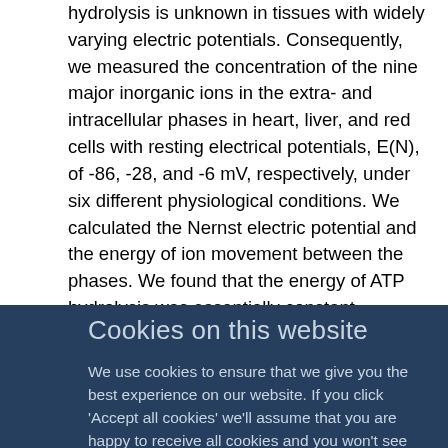hydrolysis is unknown in tissues with widely varying electric potentials. Consequently, we measured the concentration of the nine major inorganic ions in the extra- and intracellular phases in heart, liver, and red cells with resting electrical potentials, E(N), of -86, -28, and -6 mV, respectively, under six different physiological conditions. We calculated the Nernst electric potential and the energy of ion movement between the phases. We found that the energy of ATP hydrolysis was essentially constant, between -54 and -58 kJ/mol, in all tissues and conditions. In contrast, as E(N) decreased, the energies of the Na+ and K+ gradients decreased, with slopes approximating their valence. The difference between the energies of Na+ and K+ gradients remained constant at 17
Cookies on this website
We use cookies to ensure that we give you the best experience on our website. If you click 'Accept all cookies' we'll assume that you are happy to receive all cookies and you won't see this message again. If you click 'Reject all